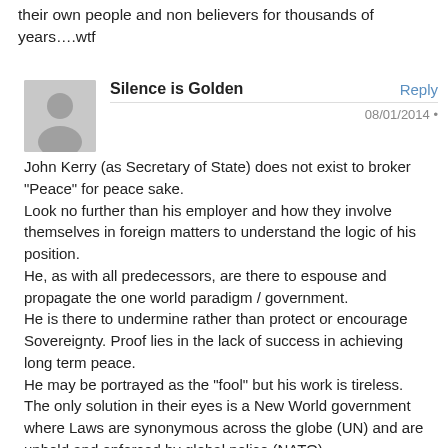their own people and non believers for thousands of years….wtf
Silence is Golden
08/01/2014
John Kerry (as Secretary of State) does not exist to broker “Peace” for peace sake.
Look no further than his employer and how they involve themselves in foreign matters to understand the logic of his position.
He, as with all predecessors, are there to espouse and propagate the one world paradigm / government.
He is there to undermine rather than protect or encourage Sovereignty. Proof lies in the lack of success in achieving long term peace.
He may be portrayed as the “fool” but his work is tireless.
The only solution in their eyes is a New World government where Laws are synonymous across the globe (UN) and are upheld and enforced by global police (NATO).